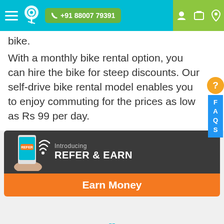+91 88007 79391
bike.
With a monthly bike rental option, you can hire the bike for steep discounts. Our self-drive bike rental model enables you to enjoy commuting for the prices as low as Rs 99 per day.
[Figure (screenshot): Refer & Earn promotional banner with phone graphic. Top section dark grey with text 'Introducing REFER & EARN', bottom section orange with text 'Earn Money']
[Figure (other): Refresh/loading spinner icon in cyan/teal color at bottom center of page]